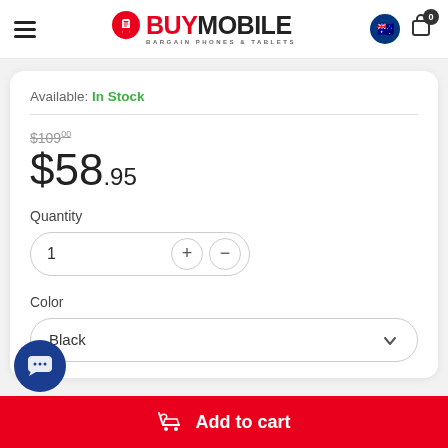[Figure (logo): BuyMobile logo with red pin icon, text BUY in red and MOBILE in black, tagline BARGAIN PHONES & TABLETS]
Available: In Stock
$109.00 (strikethrough) $58.95
Quantity
1
Color
Black
Add to cart